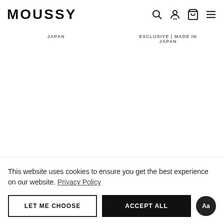MOUSSY
JAPAN
EXCLUSIVE | MADE IN JAPAN
This website uses cookies to ensure you get the best experience on our website. Privacy Policy
LET ME CHOOSE
ACCEPT ALL
Aa